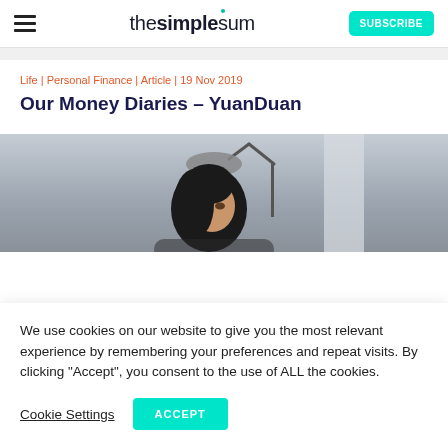thesimplesum | SUBSCRIBE
Life | Personal Finance | Article | 19 Nov 2019
Our Money Diaries – YuanDuan
[Figure (photo): Woman with dark hair sitting indoors with a desk lamp visible in the background against a light grey wall]
We use cookies on our website to give you the most relevant experience by remembering your preferences and repeat visits. By clicking “Accept”, you consent to the use of ALL the cookies.
Cookie Settings  ACCEPT